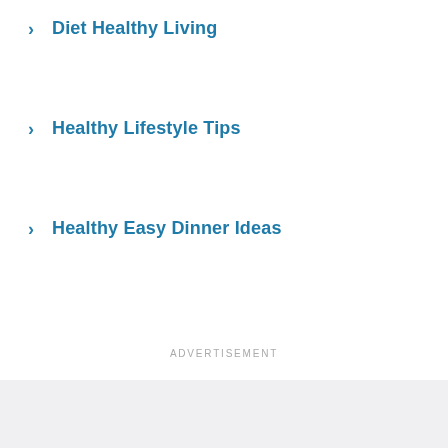Diet Healthy Living
Healthy Lifestyle Tips
Healthy Easy Dinner Ideas
ADVERTISEMENT